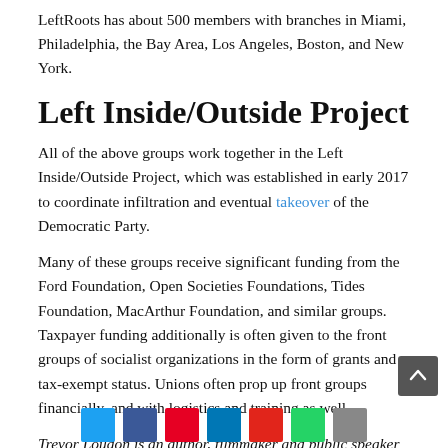LeftRoots has about 500 members with branches in Miami, Philadelphia, the Bay Area, Los Angeles, Boston, and New York.
Left Inside/Outside Project
All of the above groups work together in the Left Inside/Outside Project, which was established in early 2017 to coordinate infiltration and eventual takeover of the Democratic Party.
Many of these groups receive significant funding from the Ford Foundation, Open Societies Foundations, Tides Foundation, MacArthur Foundation, and similar groups. Taxpayer funding additionally is often given to the front groups of socialist organizations in the form of grants and tax-exempt status. Unions often prop up front groups financially, and with logistics and training as well.
Trevor Loudon is an author, filmmaker and public speaker from New Zealand. For more than 30 years, he has researched radical left, Marxist and terrorist movements and their covert influence on mainstream politics.